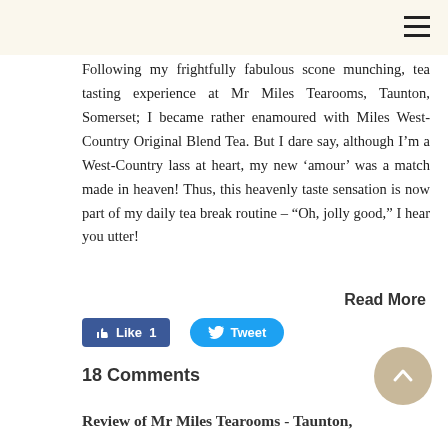Following my frightfully fabulous scone munching, tea tasting experience at Mr Miles Tearooms, Taunton, Somerset; I became rather enamoured with Miles West-Country Original Blend Tea. But I dare say, although I’m a West-Country lass at heart, my new ‘amour’ was a match made in heaven! Thus, this heavenly taste sensation is now part of my daily tea break routine – “Oh, jolly good,” I hear you utter!
Read More
[Figure (other): Facebook Like button with count 1 and Twitter Tweet button]
18 Comments
[Figure (other): Scroll to top circular button with upward chevron]
Review of Mr Miles Tearooms - Taunton,